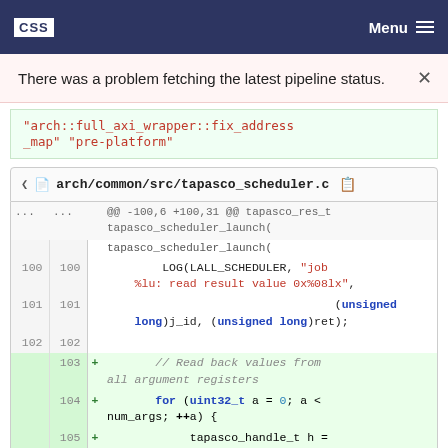CSS | Menu
There was a problem fetching the latest pipeline status.
[Figure (screenshot): Code diff showing red string: "arch::full_axi_wrapper::fix_address_map" "pre-platform"]
arch/common/src/tapasco_scheduler.c
| old line | new line | + | code |
| --- | --- | --- | --- |
| ... | ... |  | @@ -100,6 +100,31 @@ tapasco_res_t tapasco_scheduler_launch( |
| 100 | 100 |  | LOG(LALL_SCHEDULER, "job %lu: read result value 0x%08lx", |
| 101 | 101 |  | (unsigned long)j_id, (unsigned long)ret); |
| 102 | 102 |  |  |
|  | 103 | + | // Read back values from all argument registers |
|  | 104 | + | for (uint32_t a = 0; a < num_args; ++a) { |
|  | 105 | + | tapasco_handle_t h = |